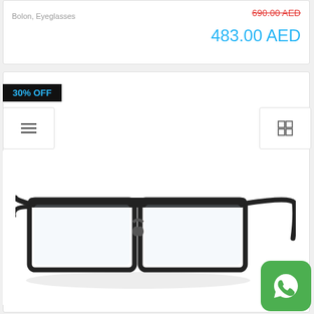Bolon, Eyeglasses
690.00 AED (strikethrough)
483.00 AED
30% OFF
[Figure (photo): Bolon brand black rectangular eyeglasses/spectacle frames with half-rim metal frame on white background]
[Figure (logo): WhatsApp logo — green rounded square button with white phone/chat icon]